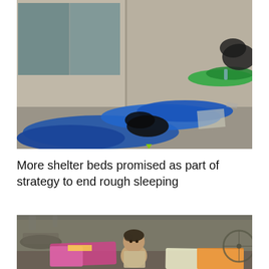[Figure (photo): People sleeping rough on a pavement against a wall, wrapped in blue, green and black sleeping bags and blankets, with bags and belongings scattered around.]
More shelter beds promised as part of strategy to end rough sleeping
[Figure (photo): A young child sitting on the ground outdoors surrounded by colourful blankets including pink, yellow and orange, in a rough sleeping or displacement camp setting.]